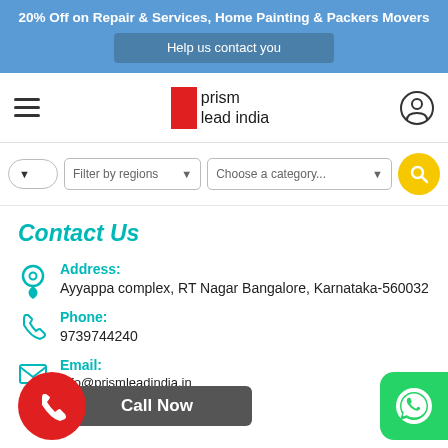20% Off on Repair & Services, Home Painting & Packers Movers
Help us contact you
[Figure (logo): Prism Lead India logo with red block and text]
Filter by regions
Choose a category...
Contact Us
Address:
Ayyappa complex, RT Nagar Bangalore, Karnataka-560032
Phone:
9739744240
Call Now
Email:
info@prismleadindia.in